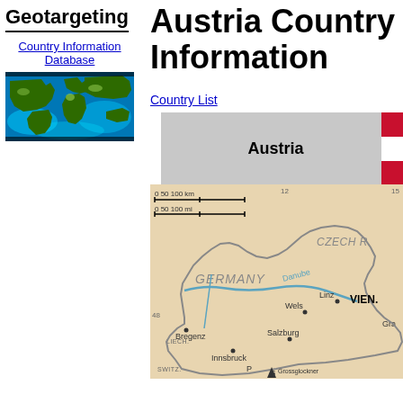Geotargeting
Country Information Database
[Figure (map): World map showing ocean/land with blue-green color scale]
Austria Country Information
Country List
| Austria | Flag |
| --- | --- |
[Figure (map): Map of Austria showing borders with Germany, Czech Republic, LIECH., SWITZ., cities: Bregenz, Innsbruck, Salzburg, Wels, Linz, VIENNA; mountain Grossglockner; Danube river; scale bar 0-100km/mi]